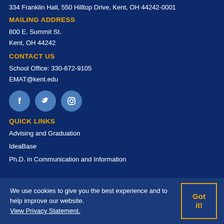334 Franklin Hall, 550 Hilltop Drive, Kent, OH 44242-0001
MAILING ADDRESS
800 E. Summit St.
Kent, OH 44242
CONTACT US
School Office: 330-672-9105
EMAT@kent.edu
[Figure (infographic): Three social media icon circles: Facebook, Twitter, Instagram]
QUICK LINKS
Advising and Graduation
IdeaBase
Ph.D. in Communication and Information
We use cookies to give you the best experience and to help improve our website. View Privacy Statement.